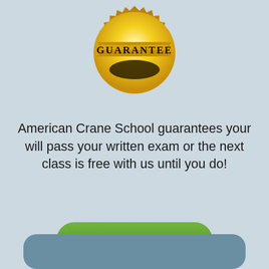[Figure (illustration): Gold guarantee seal/badge with 'GUARANTEE' text on a ribbon banner, serrated gold circular border, and dark oval accent at center bottom]
American Crane School guarantees your will pass your written exam or the next class is free with us until you do!
[Figure (other): Green rounded button with text 'Sign Up Now']
[Figure (other): Teal/steel blue rounded rectangle card at the bottom of the page, partially visible]